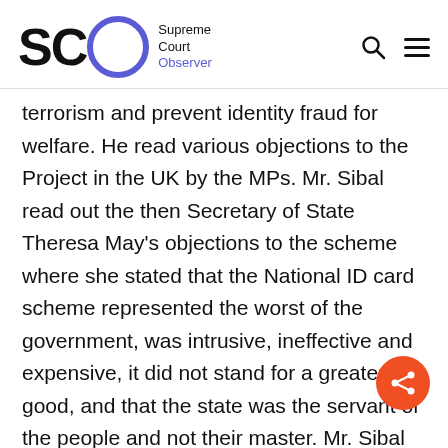SCO Supreme Court Observer
terrorism and prevent identity fraud for welfare. He read various objections to the Project in the UK by the MPs. Mr. Sibal read out the then Secretary of State Theresa May's objections to the scheme where she stated that the National ID card scheme represented the worst of the government, was intrusive, ineffective and expensive, it did not stand for a greater good, and that the state was the servant of the people and not their master. Mr. Sibal then drew a distinction between social security numbers and Aadhaar, stating that